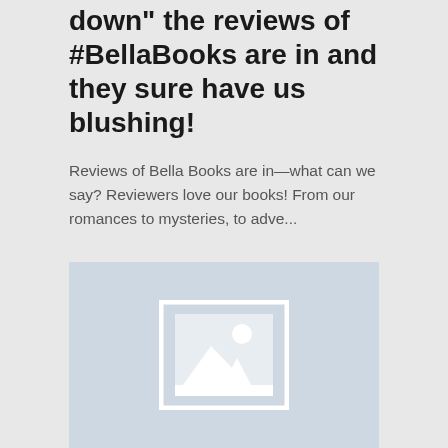down" the reviews of #BellaBooks are in and they sure have us blushing!
Reviews of Bella Books are in—what can we say? Reviewers love our books! From our romances to mysteries, to adve...
[Figure (illustration): Placeholder image icon with mountain/landscape silhouette and sun, light blue background]